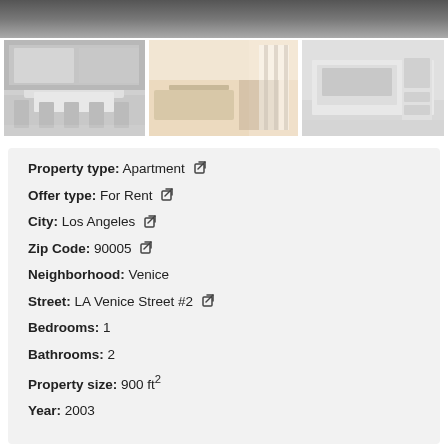[Figure (photo): Top banner photo of apartment interior (partially visible)]
[Figure (photo): Thumbnail photo of kitchen with island and bar stools]
[Figure (photo): Thumbnail photo of living/dining area with curtains]
[Figure (photo): Thumbnail photo of room with TV unit and shelving]
Property type: Apartment
Offer type: For Rent
City: Los Angeles
Zip Code: 90005
Neighborhood: Venice
Street: LA Venice Street #2
Bedrooms: 1
Bathrooms: 2
Property size: 900 ft²
Year: 2003